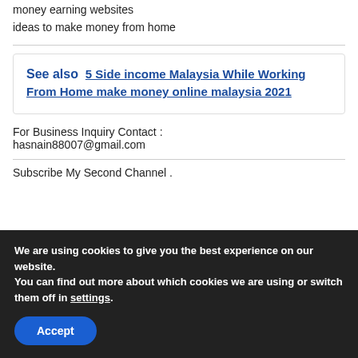money earning websites
ideas to make money from home
See also  5 Side income Malaysia While Working From Home make money online malaysia 2021
For Business Inquiry Contact :
hasnain88007@gmail.com
Subscribe My Second Channel .
We are using cookies to give you the best experience on our website.
You can find out more about which cookies we are using or switch them off in settings.
Accept